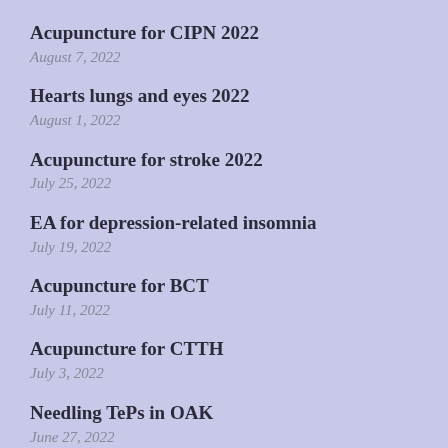Acupuncture for CIPN 2022
August 7, 2022
Hearts lungs and eyes 2022
August 1, 2022
Acupuncture for stroke 2022
July 25, 2022
EA for depression-related insomnia
July 19, 2022
Acupuncture for BCT
July 11, 2022
Acupuncture for CTTH
July 3, 2022
Needling TePs in OAK
June 27, 2022